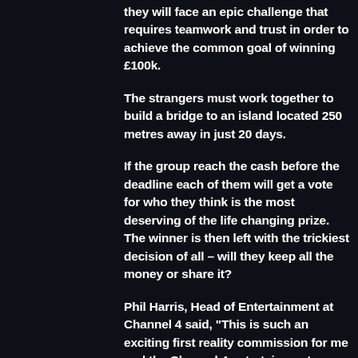they will face an epic challenge that requires teamwork and trust in order to achieve the common goal of winning £100k.
The strangers must work together to build a bridge to an island located 250 metres away in just 20 days.
If the group reach the cash before the deadline each of them will get a vote for who they think is the most deserving of the life changing prize. The winner is then left with the trickiest decision of all – will they keep all the money or share it?
Phil Harris, Head of Entertainment at Channel 4 said, "This is such an exciting first reality commission for me and the Channel 4 entertainment department. The brilliant Workerbee have conjured up the entertaining twists, comedy and drama viewers associate